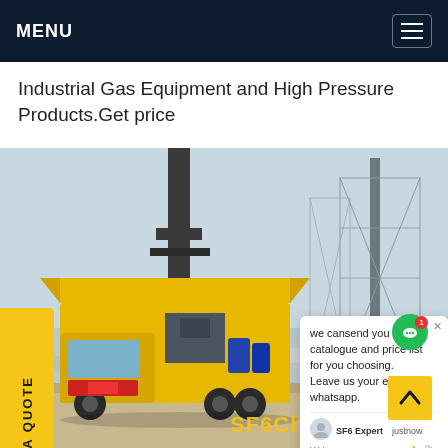MENU
Industrial Gas Equipment and High Pressure Products.Get price
[Figure (photo): A yellow industrial truck/vehicle with SF6 gas equipment parked at a high-voltage electrical substation. A chat popup overlay is visible showing a message: 'we can send you catalogue and price list for you choosing. Leave us your email or whatsapp.' with SF6 Expert agent info. A 'REQUEST A QUOTE' yellow side tab is on the left, a green chat button on the right, and 'SF6China' watermark at the bottom right.]